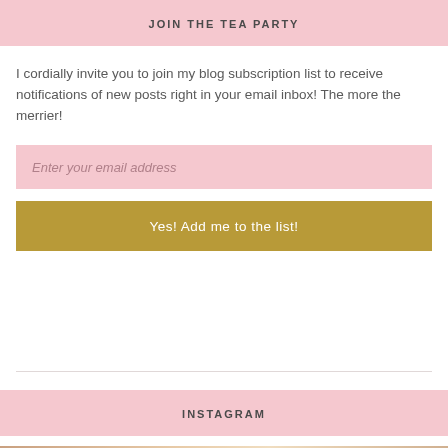JOIN THE TEA PARTY
I cordially invite you to join my blog subscription list to receive notifications of new posts right in your email inbox! The more the merrier!
Enter your email address
Yes! Add me to the list!
INSTAGRAM
[Figure (photo): Partial photo strip visible at bottom of page, showing a warm-toned image]